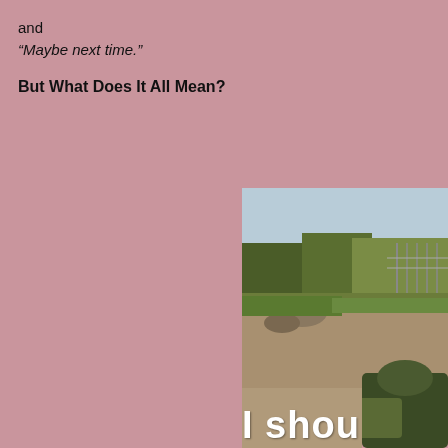and
“Maybe next time.”
But What Does It All Mean?
[Figure (photo): Outdoor scene with a soldier or military figure in the lower right, green vegetation and trees in the background, sandy ground. Text overlay reads 'I shou' (cut off).]